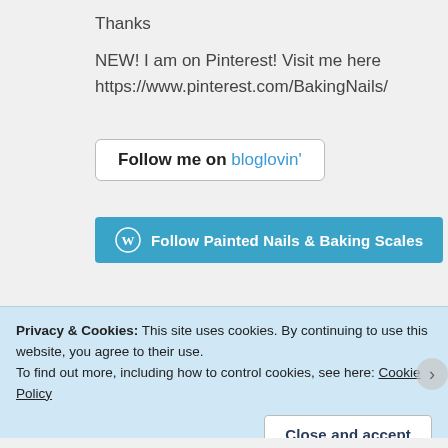Thanks
NEW! I am on Pinterest! Visit me here
https://www.pinterest.com/BakingNails/
[Figure (other): Follow me on bloglovin' button — a white rounded-rectangle button with black text 'Follow me on' and blue text 'bloglovin\u2019']
[Figure (other): WordPress follow button: teal/blue background with WordPress circular icon and white bold text 'Follow Painted Nails & Baking Scales']
Privacy & Cookies: This site uses cookies. By continuing to use this website, you agree to their use.
To find out more, including how to control cookies, see here: Cookie Policy
Close and accept